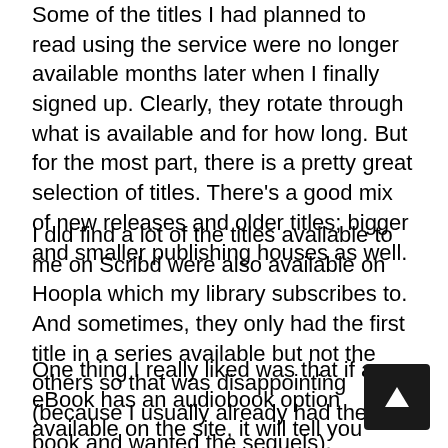Some of the titles I had planned to read using the service were no longer available months later when I finally signed up. Clearly, they rotate through what is available and for how long. But for the most part, there is a pretty great selection of titles. There's a good mix of new releases and older titles; bigger and smaller publishing houses as well.
I did find a lot of the titles available to me on Scribd were also available on Hoopla which my library subscribes to. And sometimes, they only had the first title in a series available but not the others so that was disappointing (because I usually already had the first book and wanted the sequels).
One thing I really liked was that if an eBook has an audiobook option available on the site, it will tell you when you click on the title for more information. They have bestseller lists so you can see what the more popular titles are (and even sort them by audiobook, eBook). And I found the search option to be fairly